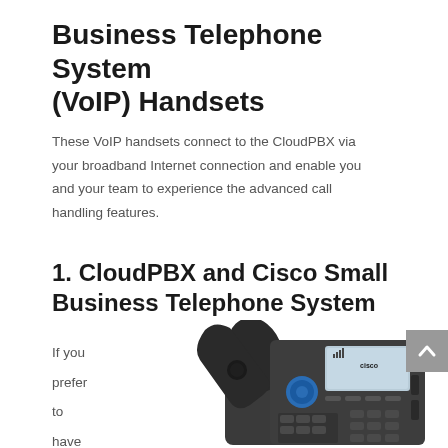Business Telephone System (VoIP) Handsets
These VoIP handsets connect to the CloudPBX via your broadband Internet connection and enable you and your team to experience the advanced call handling features.
1. CloudPBX and Cisco Small Business Telephone System
If you prefer to have professional
[Figure (photo): A Cisco small business VoIP desk telephone with handset, keypad, display screen showing the Cisco logo, and navigation buttons.]